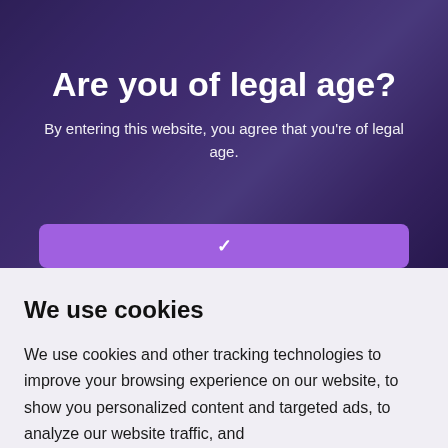[Figure (photo): Dark purple-toned background with blurred crowd/concert scene overlay]
Are you of legal age?
By entering this website, you agree that you're of legal age.
We use cookies
We use cookies and other tracking technologies to improve your browsing experience on our website, to show you personalized content and targeted ads, to analyze our website traffic, and